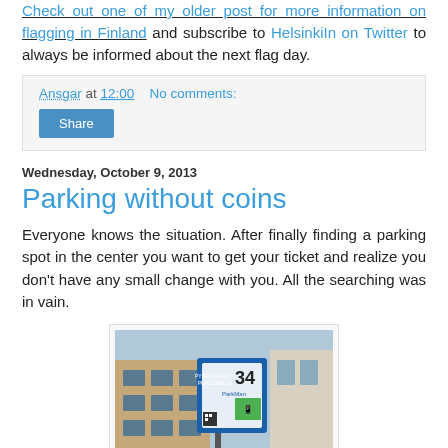Check out one of my older post for more information on flagging in Finland and subscribe to HelsinkiIn on Twitter to always be informed about the next flag day.
Ansgar at 12:00    No comments:
Share
Wednesday, October 9, 2013
Parking without coins
Everyone knows the situation. After finally finding a parking spot in the center you want to get your ticket and realize you don't have any small change with you. All the searching was in vain.
[Figure (photo): Photo of a parking machine/kiosk with number 34 displayed, blue ParkMan signage, located outside a building. Finnish text 'PYSÄKÖI NIMITPUHELIMELLA' visible.]